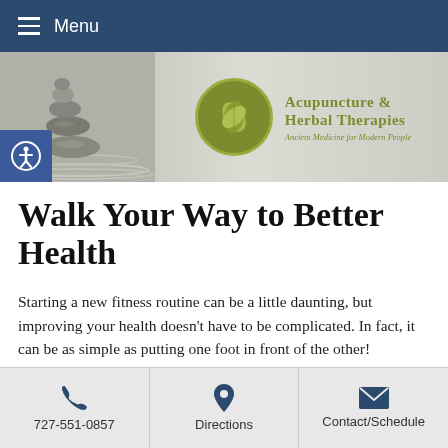Menu
[Figure (logo): Acupuncture & Herbal Therapies logo with leaf circle icon and tagline: Ancient Medicine for Modern People]
Walk Your Way to Better Health
Starting a new fitness routine can be a little daunting, but improving your health doesn't have to be complicated. In fact, it can be as simple as putting one foot in front of the other!
727-551-0857  Directions  Contact/Schedule